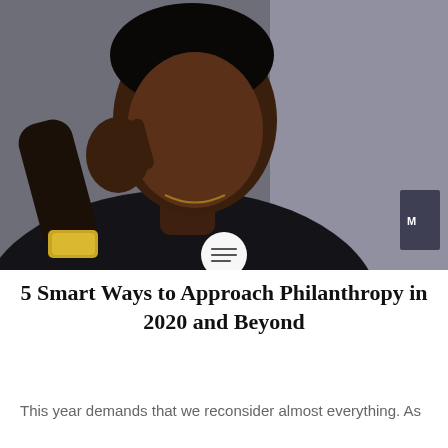[Figure (photo): A man in a black jacket wearing a gold watch, pointing to his temple with his finger in a thoughtful pose, standing against a gray wall background. A white circular icon with horizontal lines (menu/content icon) overlays the bottom center of the photo.]
5 Smart Ways to Approach Philanthropy in 2020 and Beyond
This year demands that we reconsider almost everything. As